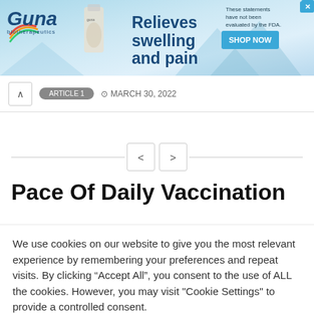[Figure (other): GUNA biotherapeutics advertisement banner — 'Relieves swelling and pain' with SHOP NOW button and FDA disclaimer]
MARCH 30, 2022
Pace Of Daily Vaccination
We use cookies on our website to give you the most relevant experience by remembering your preferences and repeat visits. By clicking “Accept All”, you consent to the use of ALL the cookies. However, you may visit "Cookie Settings" to provide a controlled consent.